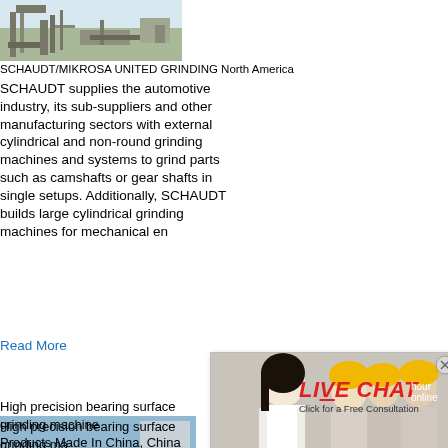[Figure (photo): Industrial grinding machine or mining equipment, outdoor setting with light-colored background]
SCHAUDT/MIKROSA UNITED GRINDING North America
SCHAUDT supplies the automotive industry, its sub-suppliers and other manufacturing sectors with external cylindrical and non-round grinding machines and systems to grind parts such as camshafts or gear shafts in single setups. Additionally, SCHAUDT builds large cylindrical grinding machines for mechanical en
Read More
[Figure (photo): Live Chat popup with workers in yellow hard hats and a woman in foreground. Shows LIVE CHAT text in red, 'Click for a Free Consultation', Chat now and Chat later buttons.]
[Figure (photo): Right sidebar showing blue panel with 'hour online' text and a crusher machine image with 'Click me to chat>>' button]
[Figure (photo): Construction/mining machinery in a quarry or outdoor industrial site]
High precision bearing surface grinding machine
High precision bearing surface grinding ma
Products Made In China, China Manufactu
bearing surface grinding machine Over view
Enquiry
limingjlmofen